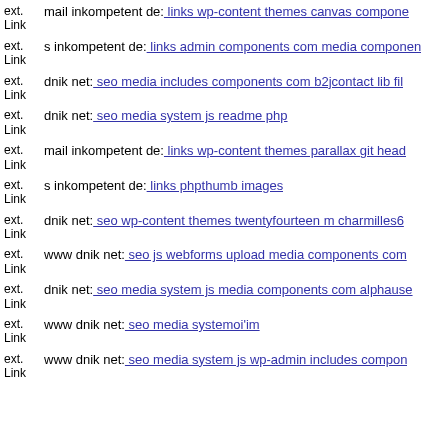ext. Link mail inkompetent de: links wp-content themes canvas components
ext. Link s inkompetent de: links admin components com media components
ext. Link dnik net: seo media includes components com b2jcontact lib fil
ext. Link dnik net: seo media system js readme php
ext. Link mail inkompetent de: links wp-content themes parallax git head
ext. Link s inkompetent de: links phpthumb images
ext. Link dnik net: seo wp-content themes twentyfourteen m charmilles6
ext. Link www dnik net: seo js webforms upload media components com
ext. Link dnik net: seo media system js media components com alphause
ext. Link www dnik net: seo media systemoi'im
ext. Link www dnik net: seo media system js wp-admin includes compon